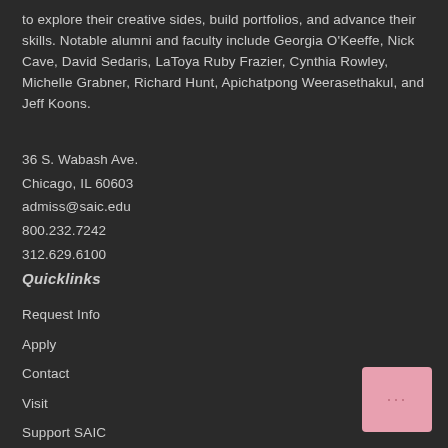to explore their creative sides, build portfolios, and advance their skills. Notable alumni and faculty include Georgia O'Keeffe, Nick Cave, David Sedaris, LaToya Ruby Frazier, Cynthia Rowley, Michelle Grabner, Richard Hunt, Apichatpong Weerasethakul, and Jeff Koons.
36 S. Wabash Ave.
Chicago, IL 60603
admiss@saic.edu
800.232.7242
312.629.6100
Quicklinks
Request Info
Apply
Contact
Visit
Support SAIC
View Work
Calendar